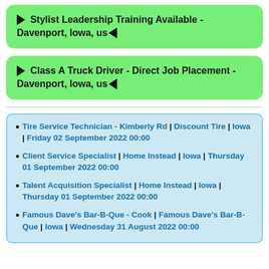► Stylist Leadership Training Available - Davenport, Iowa, us◄
► Class A Truck Driver - Direct Job Placement - Davenport, Iowa, us◄
• Tire Service Technician - Kimberly Rd | Discount Tire | Iowa | Friday 02 September 2022 00:00
• Client Service Specialist | Home Instead | Iowa | Thursday 01 September 2022 00:00
• Talent Acquisition Specialist | Home Instead | Iowa | Thursday 01 September 2022 00:00
• Famous Dave's Bar-B-Que - Cook | Famous Dave's Bar-B-Que | Iowa | Wednesday 31 August 2022 00:00